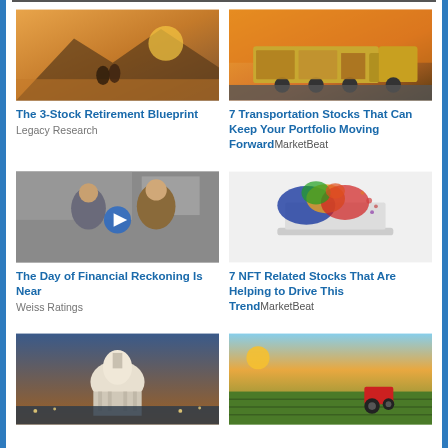[Figure (photo): Two people sitting by a lake at sunset]
The 3-Stock Retirement Blueprint
Legacy Research
[Figure (photo): Gold semi-truck on road at sunset]
7 Transportation Stocks That Can Keep Your Portfolio Moving Forward
MarketBeat
[Figure (photo): Two men in discussion, video play button overlay]
The Day of Financial Reckoning Is Near
Weiss Ratings
[Figure (photo): Laptop with colorful splash of paint/digital art]
7 NFT Related Stocks That Are Helping to Drive This Trend
MarketBeat
[Figure (photo): US Capitol building at dusk]
[Figure (photo): Tractor on agricultural field at sunset]